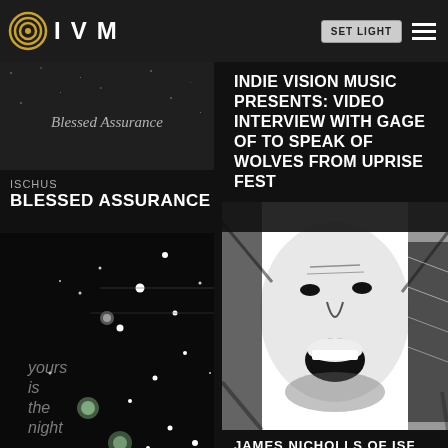IVM | SET LIGHT | menu
[Figure (photo): Album cover for Blessed Assurance by Ischus - dark grainy image with handwritten text 'Blessed Assurance']
ISCHUS
BLESSED ASSURANCE
[Figure (photo): Album cover: 'yours is the night' by Rob Ray - black background with white stars and glowing orbs]
ROB RAY
YOURS IS THE NIGHT
INDIE VISION MUSIC PRESENTS: VIDEO INTERVIEW WITH GAGE OF TO SPEAK OF WOLVES FROM UPRISE FEST
[Figure (photo): Black and white high-contrast photo of a person screaming/singing, surrounded by comic-book style art]
JAMES NICHOLLS OF ISF
[Figure (photo): Partially visible image at bottom right with text 'PARANOID VISION']